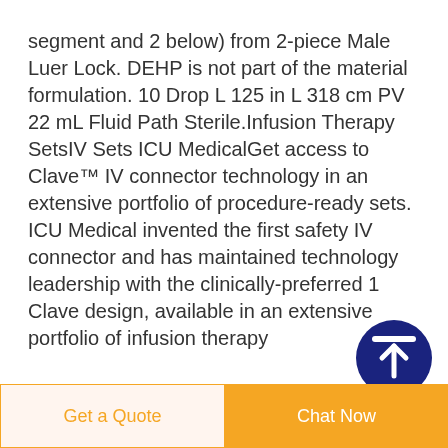segment and 2 below) from 2-piece Male Luer Lock. DEHP is not part of the material formulation. 10 Drop L 125 in L 318 cm PV 22 mL Fluid Path Sterile.Infusion Therapy SetsIV Sets ICU MedicalGet access to Clave™ IV connector technology in an extensive portfolio of procedure-ready sets. ICU Medical invented the first safety IV connector and has maintained technology leadership with the clinically-preferred 1 Clave design, available in an extensive portfolio of infusion therapy
[Figure (other): Dark navy blue circular scroll-to-top button with white upward arrow icon]